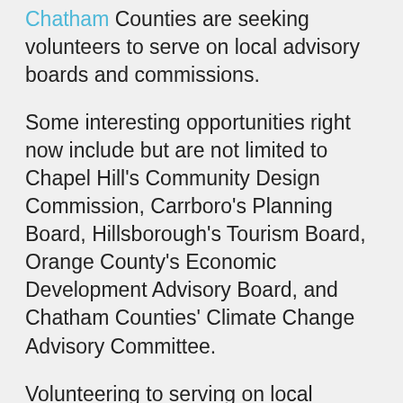Chatham Counties are seeking volunteers to serve on local advisory boards and commissions.
Some interesting opportunities right now include but are not limited to Chapel Hill's Community Design Commission, Carrboro's Planning Board, Hillsborough's Tourism Board, Orange County's Economic Development Advisory Board, and Chatham Counties' Climate Change Advisory Committee.
Volunteering to serving on local advisory board is just one of three important ways you can get involved in our community with the Chamber this year. You can also resolve to get more informed this year by reviewing our Chamber's policy positions and attending our events, and make your voice heard by speaking at public hearings and contacting decision-makers. Local elected officials and members of the media need to hear the local